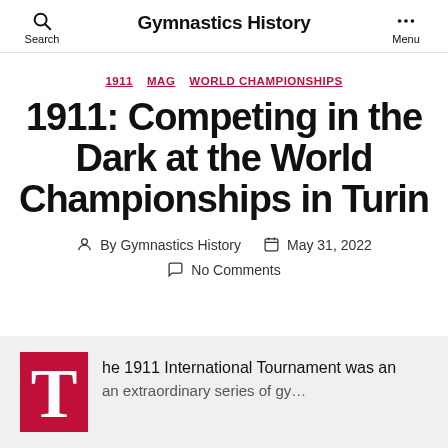Search | Gymnastics History | Menu
1911  MAG  WORLD CHAMPIONSHIPS
1911: Competing in the Dark at the World Championships in Turin
By Gymnastics History   May 31, 2022
No Comments
he 1911 International Tournament was an